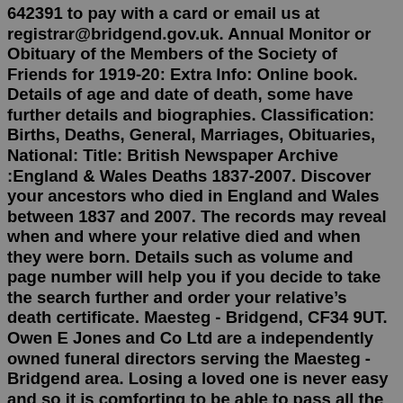642391 to pay with a card or email us at registrar@bridgend.gov.uk. Annual Monitor or Obituary of the Members of the Society of Friends for 1919-20: Extra Info: Online book. Details of age and date of death, some have further details and biographies. Classification: Births, Deaths, General, Marriages, Obituaries, National: Title: British Newspaper Archive :England & Wales Deaths 1837-2007. Discover your ancestors who died in England and Wales between 1837 and 2007. The records may reveal when and where your relative died and when they were born. Details such as volume and page number will help you if you decide to take the search further and order your relative's death certificate. Maesteg - Bridgend, CF34 9UT. Owen E Jones and Co Ltd are a independently owned funeral directors serving the Maesteg - Bridgend area. Losing a loved one is never easy and so it is comforting to be able to pass all the funeral arrangements on to a funeral director such as Owen E Jones and Co Ltd. Their office in Maesteg - Bridgend can be found ... We are a